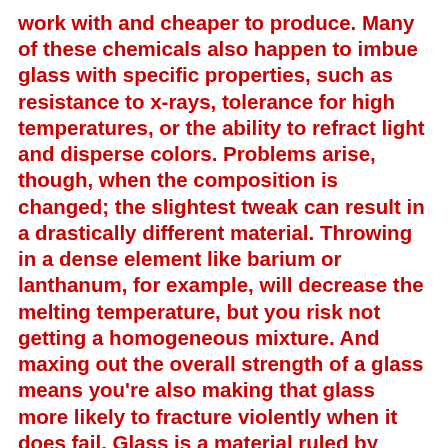work with and cheaper to produce. Many of these chemicals also happen to imbue glass with specific properties, such as resistance to x-rays, tolerance for high temperatures, or the ability to refract light and disperse colors. Problems arise, though, when the composition is changed; the slightest tweak can result in a drastically different material. Throwing in a dense element like barium or lanthanum, for example, will decrease the melting temperature, but you risk not getting a homogeneous mixture. And maxing out the overall strength of a glass means you're also making that glass more likely to fracture violently when it does fail. Glass is a material ruled by trade-offs. This is why compositions, particularly those that are fine-tuned for a specific manufacturing process, are fiercely guarded secrets.
One of the pivotal steps in glassmaking is the cooling. In large-scale manufacturing of standard glass, it's essential for the material to cool gradually and uniformly in order to minimize the internal stresses that would otherwise make it easier to break. This is called